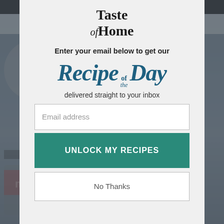[Figure (screenshot): Background screenshot of the Taste of Home website, blurred behind modal overlay]
[Figure (logo): Taste of Home logo in serif black text with 'of' in italic]
Enter your email below to get our
[Figure (infographic): Recipe of the Day stylized text in teal/dark blue italic serif font]
delivered straight to your inbox
Email address
UNLOCK MY RECIPES
No Thanks